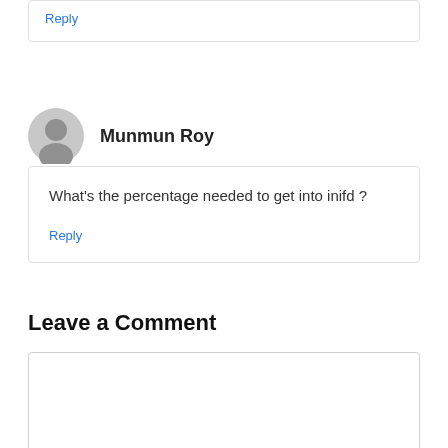Reply
Munmun Roy
What’s the percentage needed to get into inifd ?
Reply
Leave a Comment